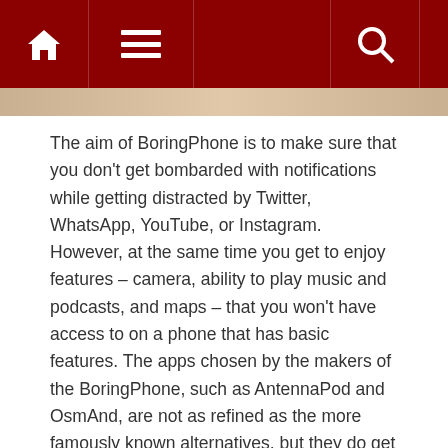Navigation bar with home, menu, and search icons
The aim of BoringPhone is to make sure that you don't get bombarded with notifications while getting distracted by Twitter, WhatsApp, YouTube, or Instagram. However, at the same time you get to enjoy features – camera, ability to play music and podcasts, and maps – that you won't have access to on a phone that has basic features. The apps chosen by the makers of the BoringPhone, such as AntennaPod and OsmAnd, are not as refined as the more famously known alternatives, but they do get the job done quite perfectly.